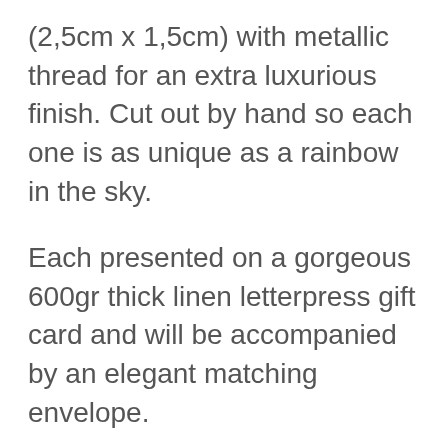(2,5cm x 1,5cm) with metallic thread for an extra luxurious finish. Cut out by hand so each one is as unique as a rainbow in the sky.
Each presented on a gorgeous 600gr thick linen letterpress gift card and will be accompanied by an elegant matching envelope.
“We say it’s handcrafted, but